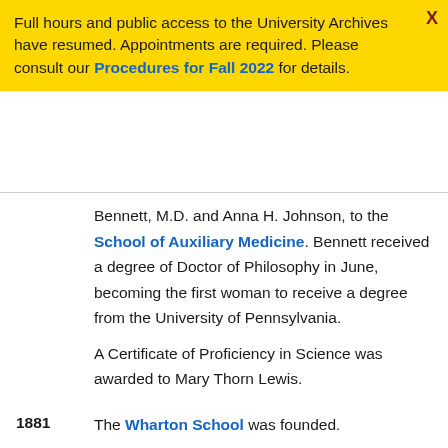Full hours and public access to the University Archives have resumed. Appointments are required. Please consult our Procedures for Fall 2022 for details.
Bennett, M.D. and Anna H. Johnson, to the School of Auxiliary Medicine. Bennett received a degree of Doctor of Philosophy in June, becoming the first woman to receive a degree from the University of Pennsylvania.

A Certificate of Proficiency in Science was awarded to Mary Thorn Lewis.
1881 — The Wharton School was founded.

The Law School accepted its first female student, Caroline Burnham Kilgore.